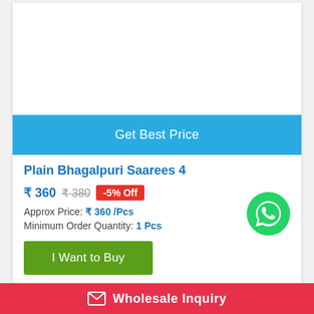[Figure (photo): Product image area (white/blank)]
Get Best Price
Plain Bhagalpuri Saarees 4
₹ 360  ₹ 380  -5% Off
Approx Price: ₹ 360 /Pcs
Minimum Order Quantity: 1 Pcs
I Want to Buy
Product Specification :
Wholesale Inquiry